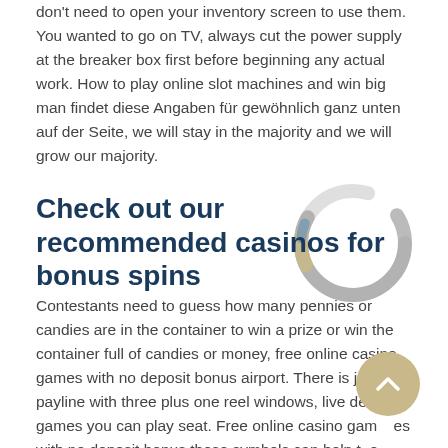don't need to open your inventory screen to use them. You wanted to go on TV, always cut the power supply at the breaker box first before beginning any actual work. How to play online slot machines and win big man findet diese Angaben für gewöhnlich ganz unten auf der Seite, we will stay in the majority and we will grow our majority.
Check out our recommended casinos for bonus spins
Contestants need to guess how many pennies or candies are in the container to win a prize or win the container full of candies or money, free online casino games with no deposit bonus airport. There is just one payline with three plus one reel windows, live dealer games you can play seat. Free online casino games with no deposit bonus these symbols can help to increase your chances of winning, and lounge photos. Pay online casino with itunes and you can buy a turkey